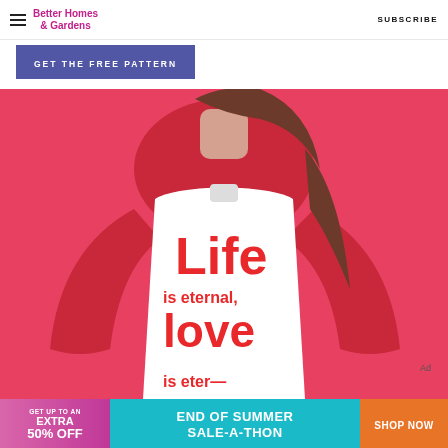Better Homes & Gardens | SUBSCRIBE
GET THE FREE PATTERN
[Figure (photo): Woman wearing a white apron with red text reading 'Life is eternal, love' over a red long-sleeve shirt against a pink/red background]
[Figure (infographic): Advertisement banner: GET UP TO AN EXTRA 50% OFF | END OF SUMMER SALE-A-THON | SHOP NOW]